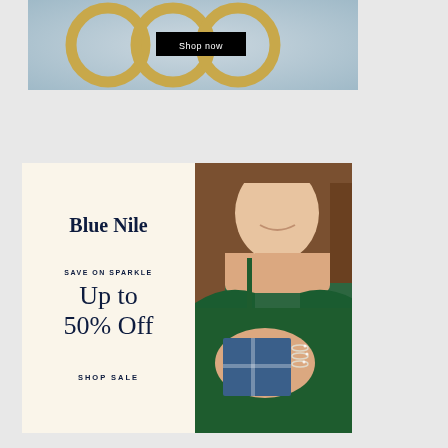[Figure (photo): Gold hoop rings on blue background with Shop now button]
[Figure (infographic): Blue Nile advertisement: Save on Sparkle, Up to 50% Off, SHOP SALE, with woman in green dress holding blue gift box]
Shop now
Blue Nile
SAVE ON SPARKLE
Up to 50% Off
SHOP SALE